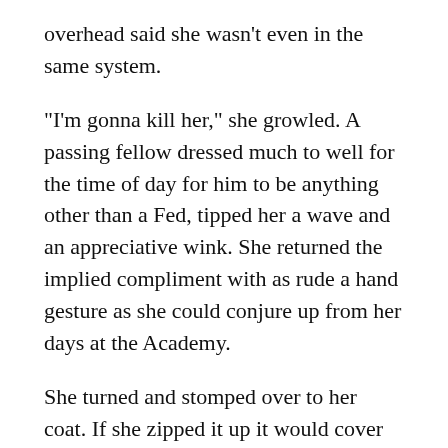overhead said she wasn't even in the same system.
“I’m gonna kill her,” she growled. A passing fellow dressed much to well for the time of day for him to be anything other than a Fed, tipped her a wave and an appreciative wink. She returned the implied compliment with as rude a hand gesture as she could conjure up from her days at the Academy.
She turned and stomped over to her coat. If she zipped it up it would cover enough of her ass to go to the desk, get them to contact the Home Office, and at least get her some clothes and enough Credits to hit a transport back to her nearest safehouse. She picked it up off the chair and a note